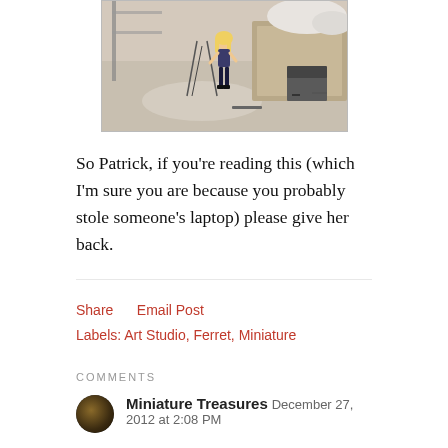[Figure (photo): A photo of a Barbie doll sitting in an art studio setting with various items around her including what appears to be a cat, a chair, and a work surface.]
So Patrick, if you're reading this (which I'm sure you are because you probably stole someone's laptop) please give her back.
Share    Email Post
Labels: Art Studio, Ferret, Miniature
COMMENTS
Miniature Treasures  December 27, 2012 at 2:08 PM